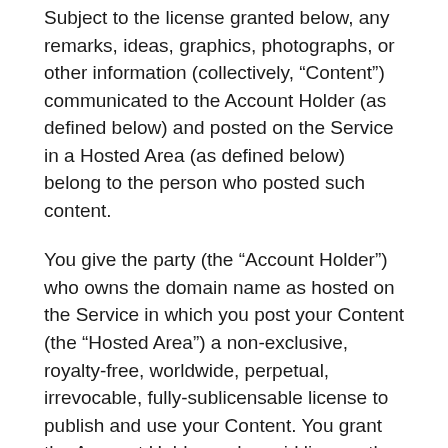Subject to the license granted below, any remarks, ideas, graphics, photographs, or other information (collectively, “Content”) communicated to the Account Holder (as defined below) and posted on the Service in a Hosted Area (as defined below) belong to the person who posted such content.
You give the party (the “Account Holder”) who owns the domain name as hosted on the Service in which you post your Content (the “Hosted Area”) a non-exclusive, royalty-free, worldwide, perpetual, irrevocable, fully-sublicensable license to publish and use your Content. You grant the Account Holder under said license the right to use and modify your Content without any restriction or payment.. Except as described in our Privacy Policy, neither the Company nor any Account Holder will be required to treat any Content as confidential. By posting Content you hereby waive any and all rights to be